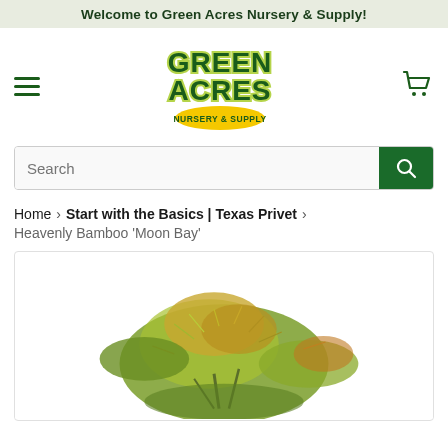Welcome to Green Acres Nursery & Supply!
[Figure (logo): Green Acres Nursery & Supply logo — large dark green bold text 'GREEN ACRES' with 'NURSERY & SUPPLY' on a yellow oval badge]
Search
Home › Start with the Basics | Texas Privet › Heavenly Bamboo 'Moon Bay'
[Figure (photo): Photo of Heavenly Bamboo 'Moon Bay' plant with green and golden-orange foliage against a white background]